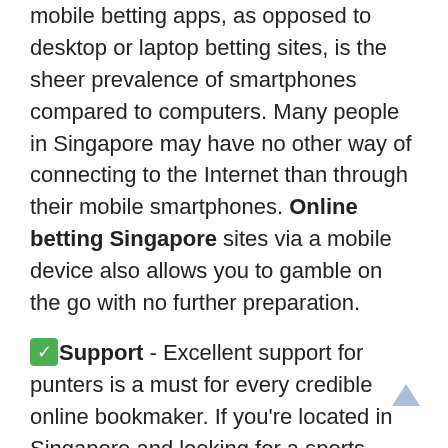mobile betting apps, as opposed to desktop or laptop betting sites, is the sheer prevalence of smartphones compared to computers. Many people in Singapore may have no other way of connecting to the Internet than through their mobile smartphones. Online betting Singapore sites via a mobile device also allows you to gamble on the go with no further preparation.
✅Support - Excellent support for punters is a must for every credible online bookmaker. If you're located in Singapore and looking for a sports betting site, pick one with helpful customer support. In case of an emergency, you want to be sure you can easily seek assistance. You may get in touch with the staff at most online gambling establishments through several channels like live chat, email, and phone. But they have to be willing to work with you for it to work. No matter how skilled you are, there will always come a time when you require assistance. That's why friendly and